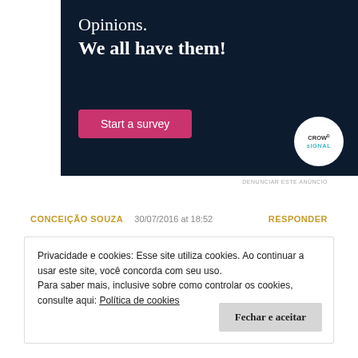[Figure (screenshot): Advertisement banner with dark navy background. Text reads 'Opinions. We all have them!' with a pink 'Start a survey' button and CrowdSignal logo circle on the right.]
DENUNCIAR ESTE ANÚNCIO
CONCEIÇÃO SOUZA   30/07/2016 at 18:52   RESPONDER
Privacidade e cookies: Esse site utiliza cookies. Ao continuar a usar este site, você concorda com seu uso.
Para saber mais, inclusive sobre como controlar os cookies, consulte aqui: Política de cookies
Fechar e aceitar